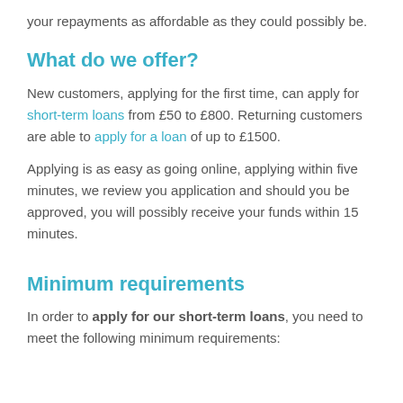your repayments as affordable as they could possibly be.
What do we offer?
New customers, applying for the first time, can apply for short-term loans from £50 to £800. Returning customers are able to apply for a loan of up to £1500.
Applying is as easy as going online, applying within five minutes, we review you application and should you be approved, you will possibly receive your funds within 15 minutes.
Minimum requirements
In order to apply for our short-term loans, you need to meet the following minimum requirements: